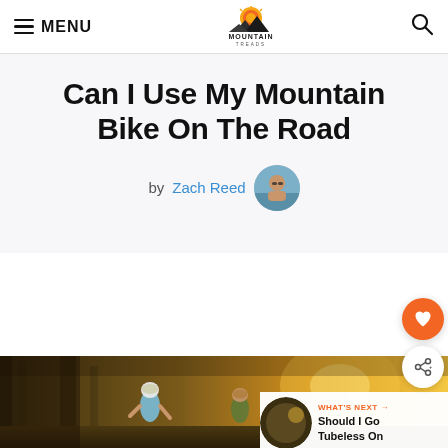MENU | Mountain Treads Logo | Search
Can I Use My Mountain Bike On The Road
by Zach Reed
[Figure (photo): Two mountain bikers riding through a sun-drenched forest trail]
WHAT'S NEXT - Should I Go Tubeless On